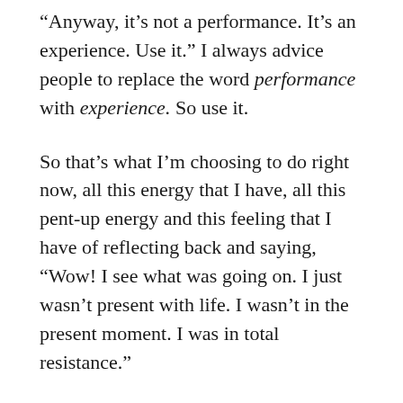“Anyway, it’s not a performance. It’s an experience. Use it.” I always advice people to replace the word performance with experience. So use it.
So that’s what I’m choosing to do right now, all this energy that I have, all this pent-up energy and this feeling that I have of reflecting back and saying, “Wow! I see what was going on. I just wasn’t present with life. I wasn’t in the present moment. I was in total resistance.”
So I can either continue that pattern that I wasn’t aware of because I didn’t see it this morning. I was just tunnel vision. “I want to